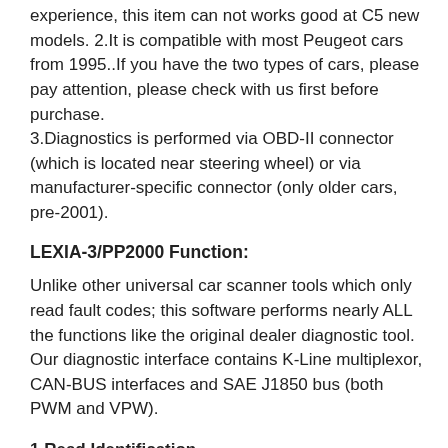experience, this item can not works good at C5 new models. 2.It is compatible with most Peugeot cars from 1995..If you have the two types of cars, please pay attention, please check with us first before purchase.
3.Diagnostics is performed via OBD-II connector (which is located near steering wheel) or via manufacturer-specific connector (only older cars, pre-2001).
LEXIA-3/PP2000 Function:
Unlike other universal car scanner tools which only read fault codes; this software performs nearly ALL the functions like the original dealer diagnostic tool. Our diagnostic interface contains K-Line multiplexor, CAN-BUS interfaces and SAE J1850 bus (both PWM and VPW).
1.Read Identification
Displays complete identification of control unit, e.g. part number, software/hardware version, manufacturer, etc...
2. Read Fault Codes
Displays all stored and pending fault codes with complete